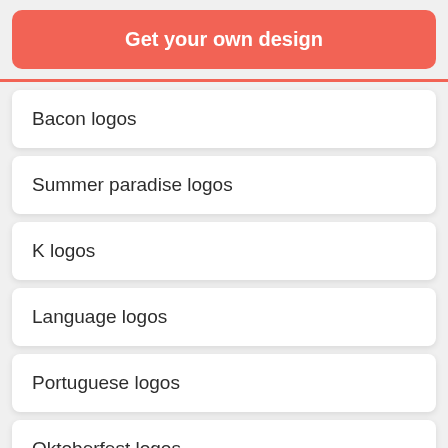[Figure (other): Red/coral rounded button banner with text 'Get your own design']
Bacon logos
Summer paradise logos
K logos
Language logos
Portuguese logos
Oktoberfest logos